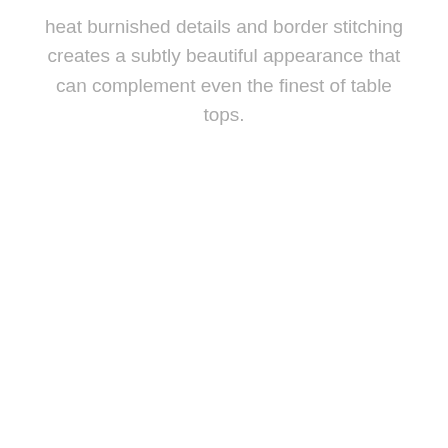heat burnished details and border stitching creates a subtly beautiful appearance that can complement even the finest of table tops.